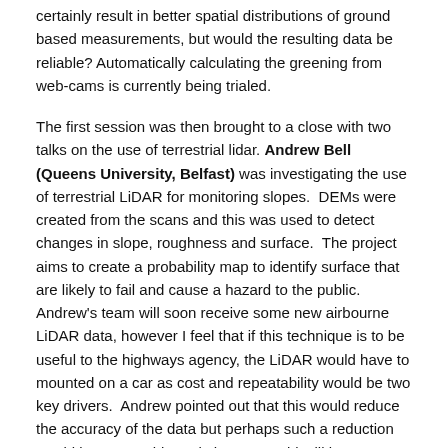certainly result in better spatial distributions of ground based measurements, but would the resulting data be reliable? Automatically calculating the greening from web-cams is currently being trialed.
The first session was then brought to a close with two talks on the use of terrestrial lidar. Andrew Bell (Queens University, Belfast) was investigating the use of terrestrial LiDAR for monitoring slopes. DEMs were created from the scans and this was used to detect changes in slope, roughness and surface. The project aims to create a probability map to identify surface that are likely to fail and cause a hazard to the public. Andrew's team will soon receive some new airbourne LiDAR data, however I feel that if this technique is to be useful to the highways agency, the LiDAR would have to mounted on a car as cost and repeatability would be two key drivers. Andrew pointed out that this would reduce the accuracy of the data but perhaps such a reduction would be acceptable and change would still be detectable.
Neil Slatcher's (Lancaster University) paper discussed